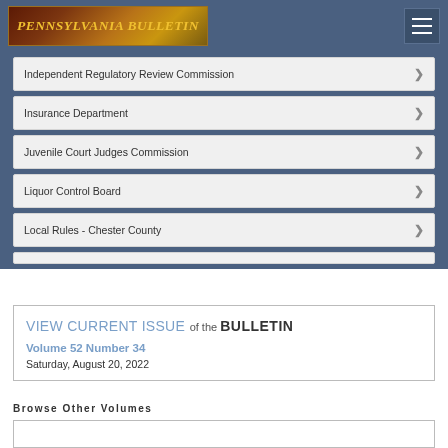PENNSYLVANIA BULLETIN
Independent Regulatory Review Commission
Insurance Department
Juvenile Court Judges Commission
Liquor Control Board
Local Rules - Chester County
VIEW CURRENT ISSUE of the BULLETIN
Volume 52 Number 34
Saturday, August 20, 2022
Browse Other Volumes